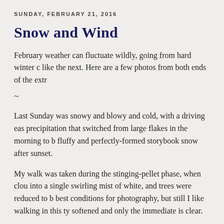SUNDAY, FEBRUARY 21, 2016
Snow and Wind
February weather can fluctuate wildly, going from hard winter c like the next. Here are a few photos from both ends of the extr
~
Last Sunday was snowy and blowy and cold, with a driving eas precipitation that switched from large flakes in the morning to b fluffy and perfectly-formed storybook snow after sunset.
My walk was taken during the stinging-pellet phase, when clou into a single swirling mist of white, and trees were reduced to b best conditions for photography, but still I like walking in this ty softened and only the immediate is clear.
Clumps of icy snow on asphalt: